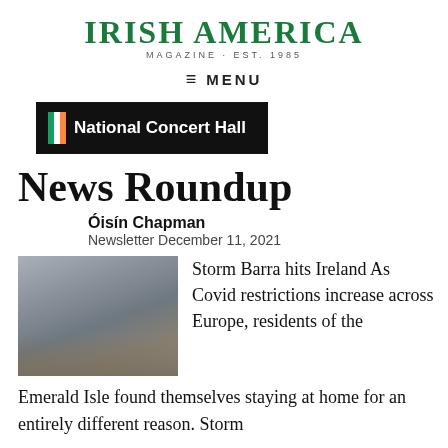IRISH AMERICA MAGAZINE · EST. 1985
≡ MENU
[Figure (logo): National Concert Hall banner with Irish tricolor flag icon on black background]
News Roundup
Óisín Chapman
Newsletter December 11, 2021
[Figure (photo): Storm Barra hitting Ireland – rough seas with waves crashing over rocks, gray foggy sky]
Storm Barra hits Ireland As Covid restrictions increase across Europe, residents of the Emerald Isle found themselves staying at home for an entirely different reason. Storm